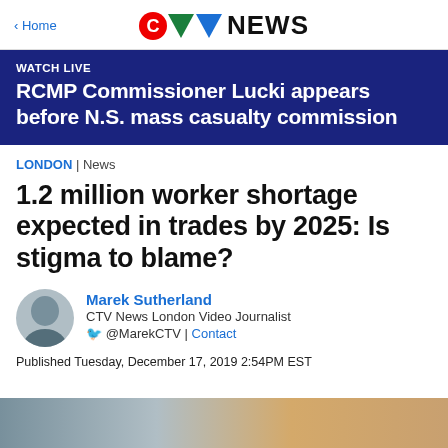< Home | CTV NEWS
WATCH LIVE
RCMP Commissioner Lucki appears before N.S. mass casualty commission
LONDON | News
1.2 million worker shortage expected in trades by 2025: Is stigma to blame?
Marek Sutherland
CTV News London Video Journalist
@MarekCTV | Contact
Published Tuesday, December 17, 2019 2:54PM EST
[Figure (photo): Bottom image strip showing partial news-related photograph]